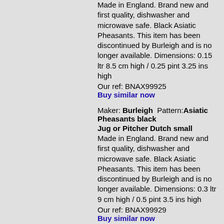Made in England. Brand new and first quality, dishwasher and microwave safe. Black Asiatic Pheasants. This item has been discontinued by Burleigh and is no longer available. Dimensions: 0.15 ltr 8.5 cm high / 0.25 pint 3.25 ins high
Our ref: BNAX99925
Buy similar now
Maker: Burleigh  Pattern: Asiatic Pheasants black
Jug or Pitcher Dutch small
Made in England. Brand new and first quality, dishwasher and microwave safe. Black Asiatic Pheasants. This item has been discontinued by Burleigh and is no longer available. Dimensions: 0.3 ltr 9 cm high / 0.5 pint 3.5 ins high
Our ref: BNAX99929
Buy similar now
Maker: Burleigh  Pattern: Asiatic Pheasants black
Jug or Pitcher Tankard small
Made in England. Brand new and first quality, dishwasher and microwave safe. Black Asiatic Pheasants. This item has been discontinued by Burleigh and is no longer available.